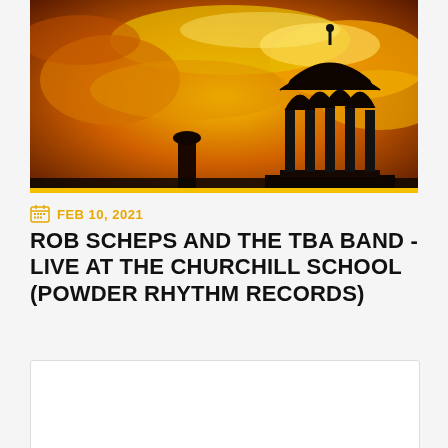[Figure (photo): Silhouette of a gazebo or pavilion structure against a dramatic orange and golden cloudy sunset sky]
FEB 10, 2021
ROB SCHEPS AND THE TBA BAND - LIVE AT THE CHURCHILL SCHOOL (POWDER RHYTHM RECORDS)
[Figure (photo): David Friesen Circle 3 Trio event promo image showing a musician with a bass instrument and text: DAVID FRIESEN CIRCLE 3 TRIO FRIDAY JANUARY 15TH @ 7 PM]